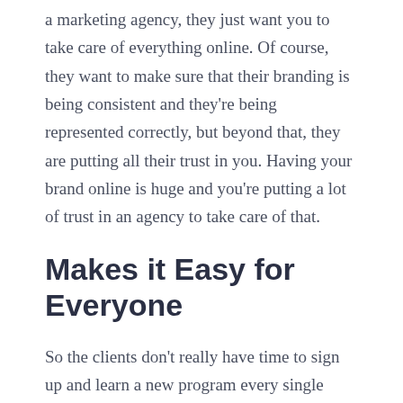a marketing agency, they just want you to take care of everything online. Of course, they want to make sure that their branding is being consistent and they're being represented correctly, but beyond that, they are putting all their trust in you. Having your brand online is huge and you're putting a lot of trust in an agency to take care of that.
Makes it Easy for Everyone
So the clients don't really have time to sign up and learn a new program every single time. We take that out, and what the agency does from the other side is just send a shareable link. You can choose what posts you want your clients to